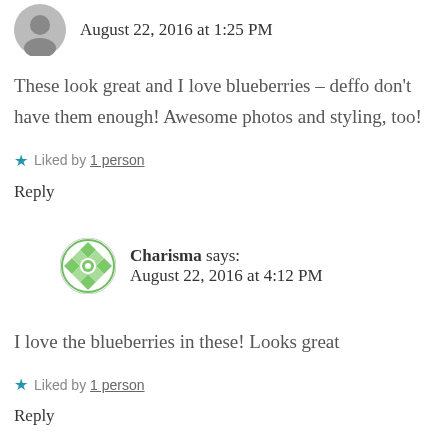[Figure (photo): Small circular avatar photo of a person]
August 22, 2016 at 1:25 PM
These look great and I love blueberries – deffo don't have them enough! Awesome photos and styling, too!
Liked by 1 person
Reply
[Figure (logo): Green and white decorative circular avatar icon for Charisma]
Charisma says:
August 22, 2016 at 4:12 PM
I love the blueberries in these! Looks great
Liked by 1 person
Reply